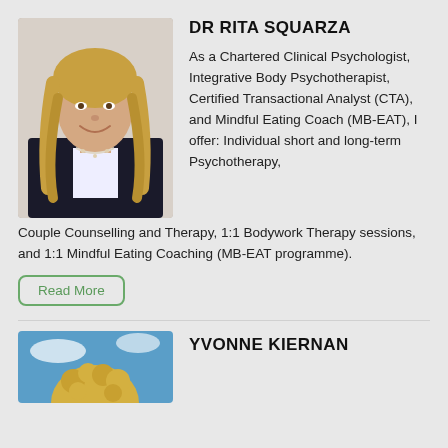[Figure (photo): Headshot photo of Dr Rita Squarza, a woman with long blonde hair wearing a dark blazer and white top, pearl necklace, smiling.]
DR RITA SQUARZA
As a Chartered Clinical Psychologist, Integrative Body Psychotherapist, Certified Transactional Analyst (CTA), and Mindful Eating Coach (MB-EAT), I offer: Individual short and long-term Psychotherapy, Couple Counselling and Therapy, 1:1 Bodywork Therapy sessions, and 1:1 Mindful Eating Coaching (MB-EAT programme).
Read More
[Figure (photo): Partial headshot photo of Yvonne Kiernan with blonde curly hair, blue sky background, cropped at bottom of page.]
YVONNE KIERNAN